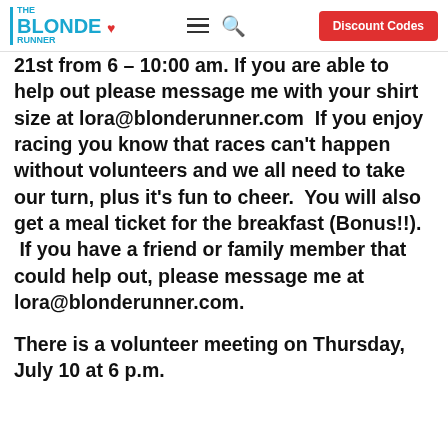THE BLONDE RUNNER | Discount Codes
21st from 6 – 10:00 am. If you are able to help out please message me with your shirt size at lora@blonderunner.com  If you enjoy racing you know that races can't happen without volunteers and we all need to take our turn, plus it's fun to cheer.  You will also get a meal ticket for the breakfast (Bonus!!).  If you have a friend or family member that could help out, please message me at lora@blonderunner.com.
There is a volunteer meeting on Thursday, July 10 at 6 p.m.